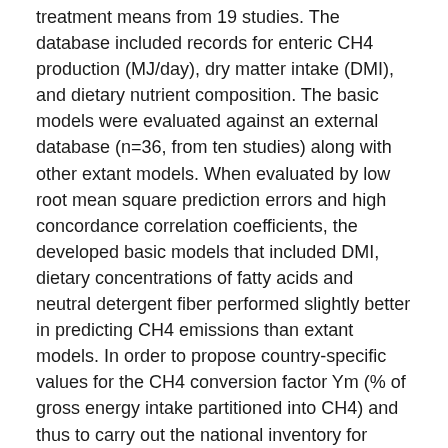treatment means from 19 studies. The database included records for enteric CH4 production (MJ/day), dry matter intake (DMI), and dietary nutrient composition. The basic models were evaluated against an external database (n=36, from ten studies) along with other extant models. When evaluated by low root mean square prediction errors and high concordance correlation coefficients, the developed basic models that included DMI, dietary concentrations of fatty acids and neutral detergent fiber performed slightly better in predicting CH4 emissions than extant models. In order to propose country-specific values for the CH4 conversion factor Ym (% of gross energy intake partitioned into CH4) and thus to carry out the national inventory for Norway, the existing operational model was updated for the prediction of Ym over a wide range of feeding situations using energy corrected milk and dietary concentrate share as predictor variables. Input values of Ym were updated based on the results from the basic models. The predicted Ym ranged from 6.22 to 6.72%. In conclusion, the prediction of CH4 production from dairy cows was improved with the help of newly published data, which enabled an update of the operational model for calculating the national inventory of CH4 in Norway.